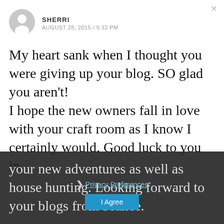[Figure (illustration): Gray circle avatar / profile icon]
SHERRI
AUGUST 28, 2015 / 9:32 PM
My heart sank when I thought you were giving up your blog. SO glad you aren't!
I hope the new owners fall in love with your craft room as I know I certainly would. Good luck to you in your new adventures as well as house hunting. Looking forward to your blogs from France.
Privacy Preferences
I Agree